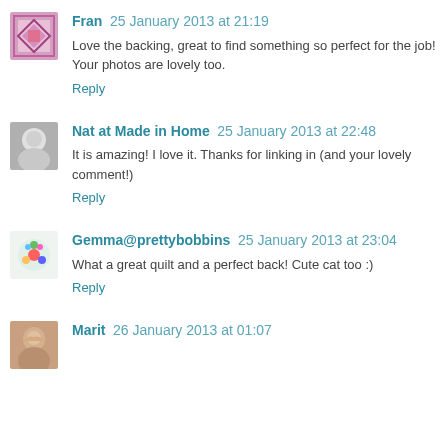Fran 25 January 2013 at 21:19
Love the backing, great to find something so perfect for the job! Your photos are lovely too.
Reply
Nat at Made in Home 25 January 2013 at 22:48
It is amazing! I love it. Thanks for linking in (and your lovely comment!)
Reply
Gemma@prettybobbins 25 January 2013 at 23:04
What a great quilt and a perfect back! Cute cat too :)
Reply
Marit 26 January 2013 at 01:07